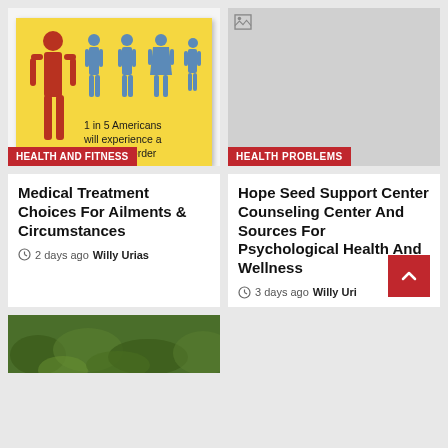[Figure (infographic): Yellow sticky note with red figure on left and 4 blue human figures, text: 1 in 5 Americans will experience a mental disorder this year.]
Health And Fitness
[Figure (photo): Broken/missing image placeholder (gray background)]
HEALTH PROBLEMS
Medical Treatment Choices For Ailments & Circumstances
2 days ago  Willy Urias
Hope Seed Support Center Counseling Center And Sources For Psychological Health And Wellness
3 days ago  Willy Uri...
[Figure (photo): Green leafy vegetables at the bottom of the page]